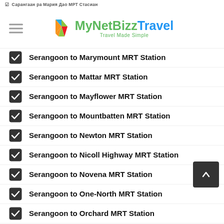Сарангаан ра Мария Дао МРТ Стасиан
[Figure (logo): MyNetBizz Travel logo with colorful diamond icon and tagline 'Travel Made Simple']
Serangoon to Marymount MRT Station
Serangoon to Mattar MRT Station
Serangoon to Mayflower MRT Station
Serangoon to Mountbatten MRT Station
Serangoon to Newton MRT Station
Serangoon to Nicoll Highway MRT Station
Serangoon to Novena MRT Station
Serangoon to One-North MRT Station
Serangoon to Orchard MRT Station
Serangoon to Outram Park MRT Station
Serangoon to Pasir Panjang MRT Station
Serangoon to Pasir Ris MRT Station